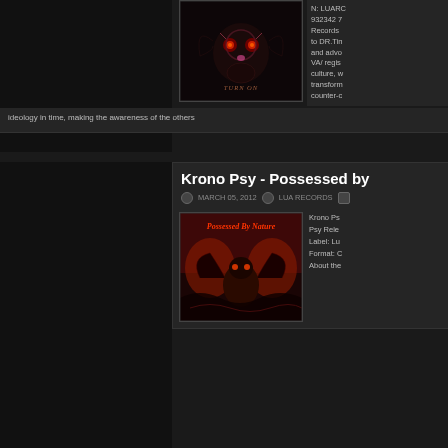[Figure (illustration): Album cover art for 'Turn On' - dark demonic face with glowing eyes on black background with text 'TURN ON']
N: LUARC 932342 7 Records to DR.Tin and advo VA/ regis culture, w transform counter-c ideology in time, making the awareness of the others
Krono Psy - Possessed by
MARCH 05, 2012 LUA RECORDS
[Figure (illustration): Album cover art for 'Possessed By Nature' - red demonic creature with wings and psychedelic art]
Krono Ps Psy Rele Label: Lu Format: C About the